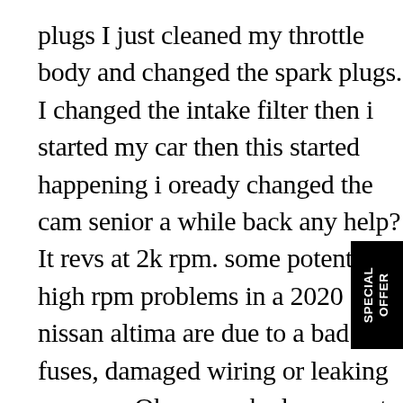plugs I just cleaned my throttle body and changed the spark plugs. I changed the intake filter then i started my car then this started happening i oready changed the cam senior a while back any help? It revs at 2k rpm. some potential high rpm problems in a 2020 nissan altima are due to a bad fuses, damaged wiring or leaking vacuum. Oh so you had a separate transmission cooler other than the radiator. My engine light wasn't on when I took my car in. ... Nissan sentra rpm problem! I think high rev's is just a relative state of driving. A few days later I started experiencing high
[Figure (other): Black vertical banner with white bold text reading 'SPECIAL OFFER' positioned on the right side of the page]